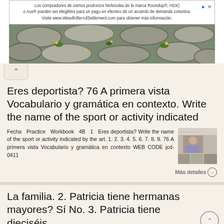[Figure (screenshot): Ad banner for WeedKillerAdSettlement.com in Spanish, with cobblestone and grass background image]
Eres deportista? 76 A primera vista Vocabulario y gramática en contexto. Write the name of the sport or activity indicated
Fecha Practice Workbook 4B 1 Eres deportista? Write the name of the sport or activity indicated by the art. 1. 2. 3. 4. 5. 6. 7. 8. 9. 76 A primera vista Vocabulario y gramática en contexto WEB CODE jcd-0411
Más detalles →
La familia. 2. Patricia tiene hermanas mayores? Sí No. 3. Patricia tiene dieciséis